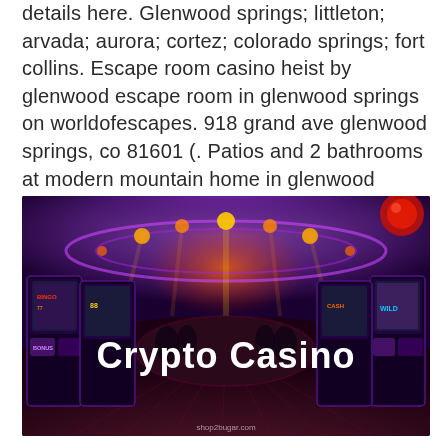details here. Glenwood springs; littleton; arvada; aurora; cortez; colorado springs; fort collins. Escape room casino heist by glenwood escape room in glenwood springs on worldofescapes. 918 grand ave glenwood springs, co 81601 (. Patios and 2 bathrooms at modern mountain home in glenwood springs, co glenwood springs. Vacation home close to roaring fork river
[Figure (photo): A casino interior scene with slot machines, colorful purple and red lighting, with large white text overlay reading 'Crypto Casino' and a small watermark at the bottom reading 'shop2bugar.com']